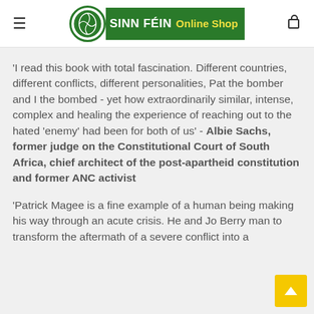SINN FÉIN Online Shop
'I read this book with total fascination. Different countries, different conflicts, different personalities, Pat the bomber and I the bombed - yet how extraordinarily similar, intense, complex and healing the experience of reaching out to the hated 'enemy' had been for both of us' - Albie Sachs, former judge on the Constitutional Court of South Africa, chief architect of the post-apartheid constitution and former ANC activist
'Patrick Magee is a fine example of a human being making his way through an acute crisis. He and Jo Berry man to transform the aftermath of a severe conflict into a